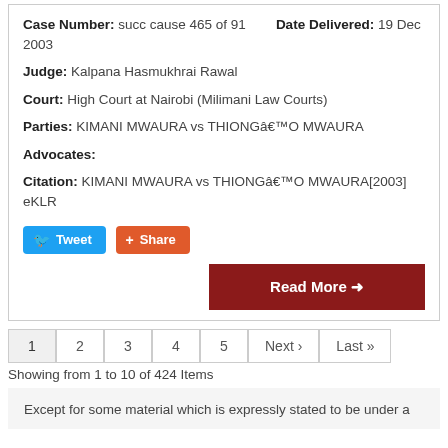Case Number: succ cause 465 of 91   Date Delivered: 19 Dec 2003
Judge: Kalpana Hasmukhrai Rawal
Court: High Court at Nairobi (Milimani Law Courts)
Parties: KIMANI MWAURA vs THIONGâ€™O MWAURA
Advocates:
Citation: KIMANI MWAURA vs THIONGâ€™O MWAURA[2003] eKLR
[Figure (other): Tweet and Share social media buttons]
[Figure (other): Read More button in dark red]
Pagination: 1 2 3 4 5 Next › Last »
Showing from 1 to 10 of 424 Items
Except for some material which is expressly stated to be under a